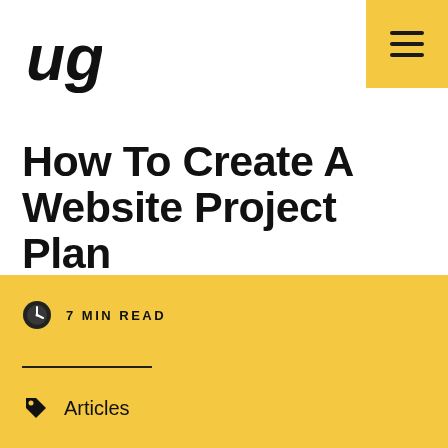Logo and navigation menu
How To Create A Website Project Plan
NAVEED USMAN
March 10, 2021
7 MIN READ
Articles